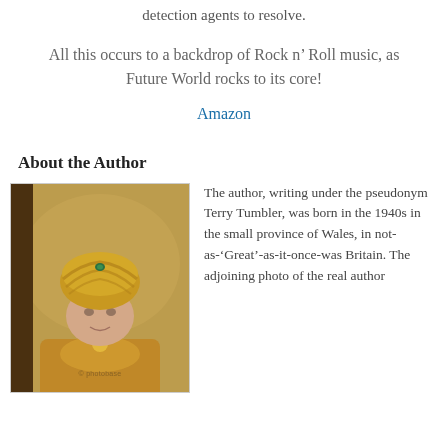detection agents to resolve.
All this occurs to a backdrop of Rock n’ Roll music, as Future World rocks to its core!
Amazon
About the Author
[Figure (photo): Photo of the author wearing an ornate gold turban and decorative gold costume, standing in front of an ornate patterned background. A photo watermark is visible.]
The author, writing under the pseudonym Terry Tumbler, was born in the 1940s in the small province of Wales, in not-as-‘Great’-as-it-once-was Britain. The adjoining photo of the real author